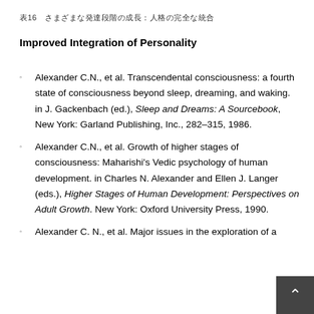表16　さまざまな発達段階の成長：人格の完全な統合
Improved Integration of Personality
Alexander C.N., et al. Transcendental consciousness: a fourth state of consciousness beyond sleep, dreaming, and waking. in J. Gackenbach (ed.), Sleep and Dreams: A Sourcebook, New York: Garland Publishing, Inc., 282–315, 1986.
Alexander C.N., et al. Growth of higher stages of consciousness: Maharishi's Vedic psychology of human development. in Charles N. Alexander and Ellen J. Langer (eds.), Higher Stages of Human Development: Perspectives on Adult Growth. New York: Oxford University Press, 1990.
Alexander C. N., et al. Major issues in the exploration of a